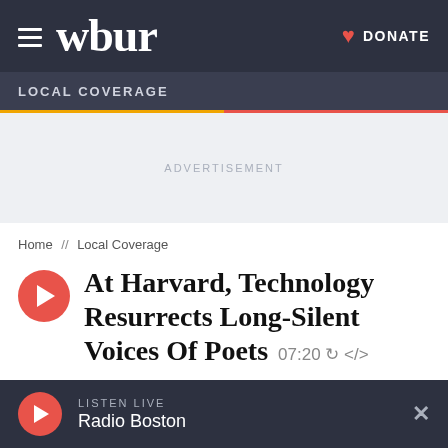wbur | DONATE
LOCAL COVERAGE
ADVERTISEMENT
Home // Local Coverage
At Harvard, Technology Resurrects Long-Silent Voices Of Poets 07:20
LISTEN LIVE Radio Boston